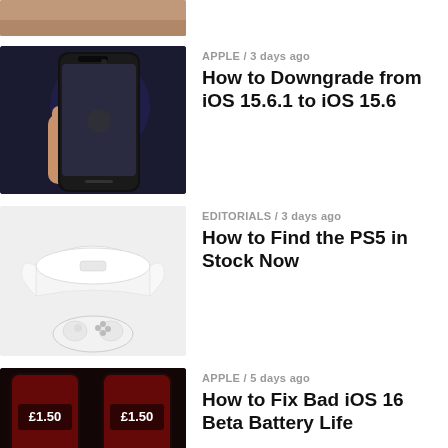[Figure (photo): Partial top of an article thumbnail - light brownish/beige image cropped at top]
[Figure (photo): Hand holding a black iPhone against dark background]
APPLE / 3 days ago
How to Downgrade from iOS 15.6.1 to iOS 15.6
[Figure (photo): PlayStation 5 console and controller in white on light gray background]
EDITORIALS / 3 days ago
How to Find the PS5 in Stock Now
[Figure (photo): Two iPhones showing £1.50 on screen against dark red background]
APPLE / 5 days ago
How to Fix Bad iOS 16 Beta Battery Life
[Figure (photo): MacBook Air with purple/pink gradient wallpaper]
APPLE / 2 weeks ago
How to Find the MacBook Air in Stock
[Figure (photo): Bottom portion of a pink iPhone]
APPLE / 1 month ago
How to Check Battery Percentage on iPhone